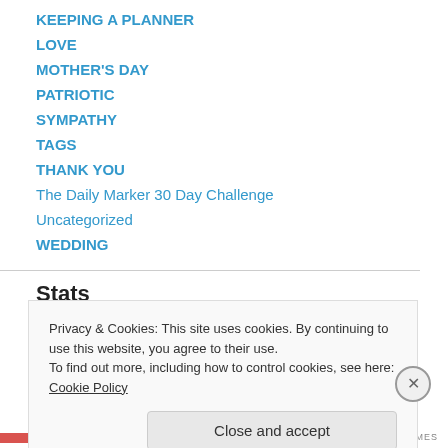KEEPING A PLANNER
LOVE
MOTHER'S DAY
PATRIOTIC
SYMPATHY
TAGS
THANK YOU
The Daily Marker 30 Day Challenge
Uncategorized
WEDDING
Stats
Privacy & Cookies: This site uses cookies. By continuing to use this website, you agree to their use.
To find out more, including how to control cookies, see here: Cookie Policy
Close and accept